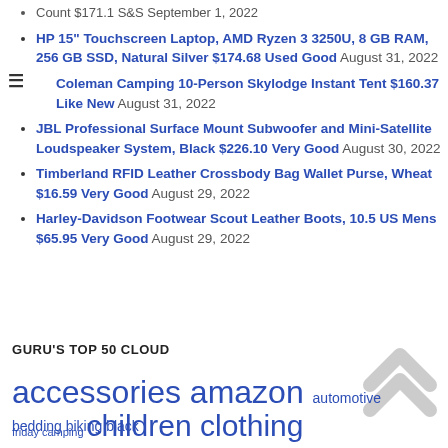Count $171.1 S&S September 1, 2022 (partial, cut off at top)
HP 15" Touchscreen Laptop, AMD Ryzen 3 3250U, 8 GB RAM, 256 GB SSD, Natural Silver $174.68 Used Good August 31, 2022
Coleman Camping 10-Person Skylodge Instant Tent $160.37 Like New August 31, 2022
JBL Professional Surface Mount Subwoofer and Mini-Satellite Loudspeaker System, Black $226.10 Very Good August 30, 2022
Timberland RFID Leather Crossbody Bag Wallet Purse, Wheat $16.59 Very Good August 29, 2022
Harley-Davidson Footwear Scout Leather Boots, 10.5 US Mens $65.95 Very Good August 29, 2022
GURU'S TOP 50 CLOUD
accessories amazon automotive bedding biking black friday camping children clothing commercial